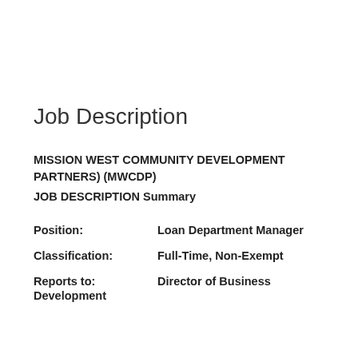Job Description
MISSION WEST COMMUNITY DEVELOPMENT PARTNERS) (MWCDP)
JOB DESCRIPTION Summary
Position:    Loan Department Manager
Classification:    Full-Time, Non-Exempt
Reports to:    Director of Business Development